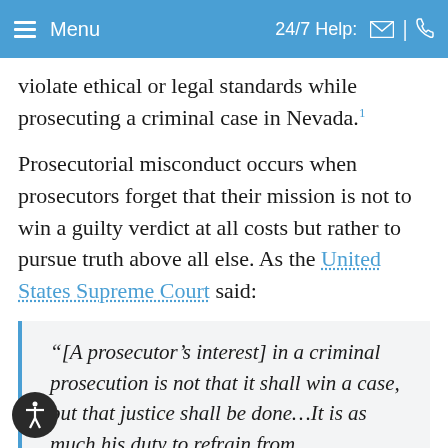Menu | 24/7 Help:
violate ethical or legal standards while prosecuting a criminal case in Nevada.¹
Prosecutorial misconduct occurs when prosecutors forget that their mission is not to win a guilty verdict at all costs but rather to pursue truth above all else. As the United States Supreme Court said:
“[A prosecutor’s interest] in a criminal prosecution is not that it shall win a case, but that justice shall be done…It is as much his duty to refrain from